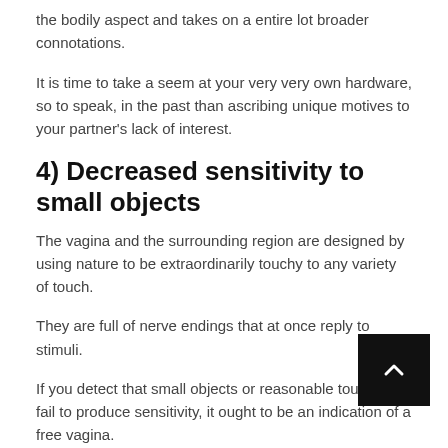the bodily aspect and takes on a entire lot broader connotations.
It is time to take a seem at your very very own hardware, so to speak, in the past than ascribing unique motives to your partner's lack of interest.
4) Decreased sensitivity to small objects
The vagina and the surrounding region are designed by using nature to be extraordinarily touchy to any variety of touch.
They are full of nerve endings that at once reply to stimuli.
If you detect that small objects or reasonable touches fail to produce sensitivity, it ought to be an indication of a free vagina.
5) Unusual odor or discharge
The presence of multiplied fishy-smelling discharge from the